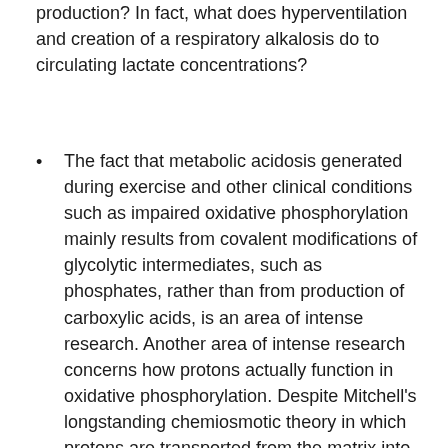production? In fact, what does hyperventilation and creation of a respiratory alkalosis do to circulating lactate concentrations?
The fact that metabolic acidosis generated during exercise and other clinical conditions such as impaired oxidative phosphorylation mainly results from covalent modifications of glycolytic intermediates, such as phosphates, rather than from production of carboxylic acids, is an area of intense research. Another area of intense research concerns how protons actually function in oxidative phosphorylation. Despite Mitchell's longstanding chemiosmotic theory in which protons are transported from the matrix into